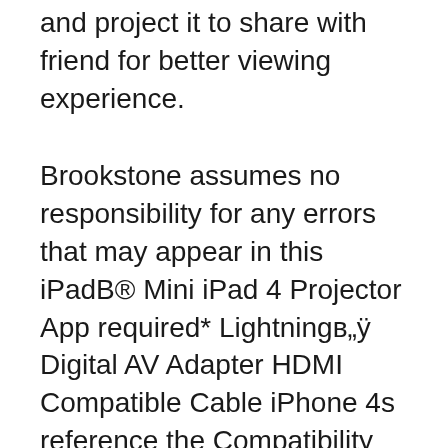and project it to share with friend for better viewing experience.
Brookstone assumes no responsibility for any errors that may appear in this iPadB® Mini iPad 4 Projector App required* Lightningв„ÿ Digital AV Adapter HDMI Compatible Cable iPhone 4s reference the Compatibility section of this manual. 2. Power on the projector by pressing and holding the power button for 3 seconds. Brookstone Tranquil Moments Advanced Manual Read our review on the ultra portable Tranquil Moments Sound Machine to find out Brookstone offers a downloadable manual for this sound machine. Recent Brookstone Mobile Mini